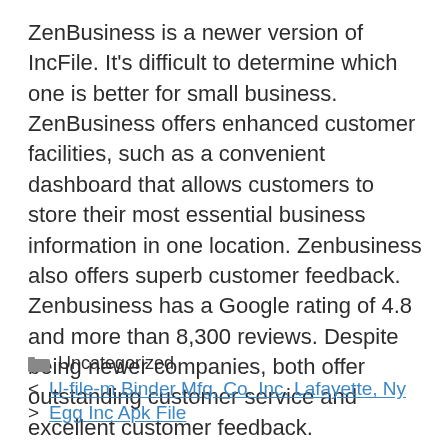ZenBusiness is a newer version of IncFile. It's difficult to determine which one is better for small business. ZenBusiness offers enhanced customer facilities, such as a convenient dashboard that allows customers to store their most essential business information in one location. Zenbusiness also offers superb customer feedback. Zenbusiness has a Google rating of 4.8 and more than 8,300 reviews. Despite being newer companies, both offer outstanding customer service and excellent customer feedback.
Uncategorized
U-file-m Binder Mfg. Co. Inc. Lafayette, Ny
Egg Inc Apk File